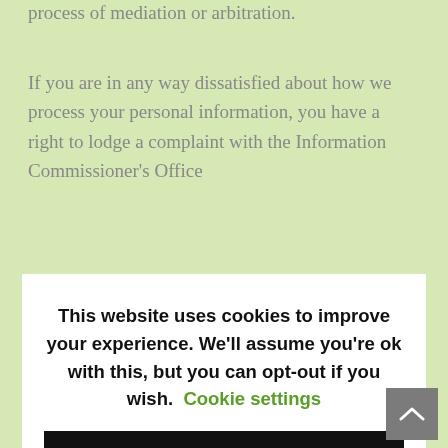process of mediation or arbitration.
If you are in any way dissatisfied about how we process your personal information, you have a right to lodge a complaint with the Information Commissioner's Office
[Figure (screenshot): Cookie consent modal overlay on a webpage. The modal displays: 'This website uses cookies to improve your experience. We'll assume you're ok with this, but you can opt-out if you wish. Cookie settings' with an ACCEPT button below.]
Except as otherwise mentioned in this privacy notice, we keep your personal information only for as long as required by us:
to provide you with the services you have requested
to comply with other law, including for the period